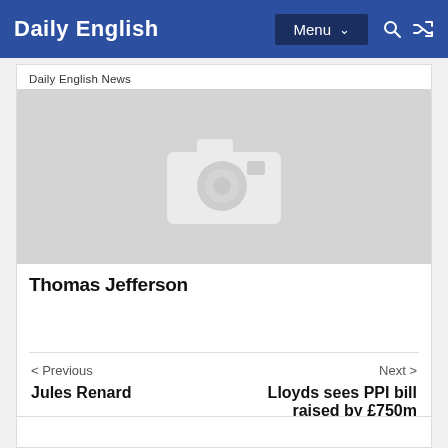Daily English
Daily English News
[Figure (photo): Placeholder image with camera icon, light grey background]
Thomas Jefferson
< Previous
Next >
Jules Renard
Lloyds sees PPI bill raised by £750m